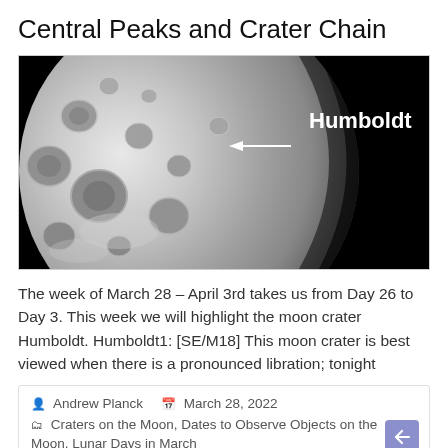Central Peaks and Crater Chain
[Figure (photo): Grayscale photograph of the Moon showing cratered surface occupying the left and center portion, with black sky on the right. A white arrow points left to the label 'Humboldt' in bold white text on the black background.]
The week of March 28 – April 3rd takes us from Day 26 to Day 3. This week we will highlight the moon crater Humboldt. Humboldt1: [SE/M18] This moon crater is best viewed when there is a pronounced libration; tonight
Andrew Planck   March 28, 2022
Craters on the Moon, Dates to Observe Objects on the Moon, Lunar Days in March